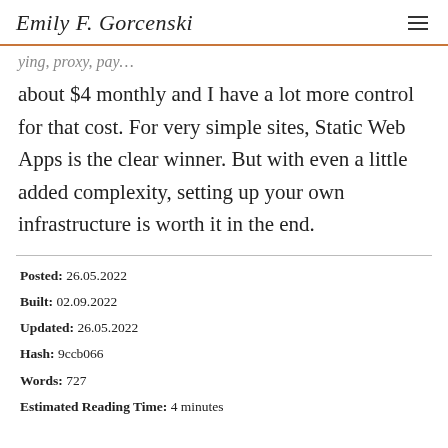Emily F. Gorcenski
about $4 monthly and I have a lot more control for that cost. For very simple sites, Static Web Apps is the clear winner. But with even a little added complexity, setting up your own infrastructure is worth it in the end.
Posted: 26.05.2022
Built: 02.09.2022
Updated: 26.05.2022
Hash: 9ccb066
Words: 727
Estimated Reading Time: 4 minutes